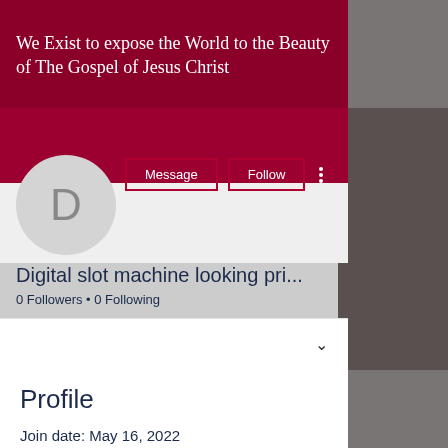We Exist to expose the World to the Beauty of The Gospel of Jesus Christ
[Figure (illustration): Circular avatar placeholder with letter D on dark red profile background with Message and Follow buttons]
Digital slot machine looking pri...
0 Followers • 0 Following
Profile
Join date: May 16, 2022